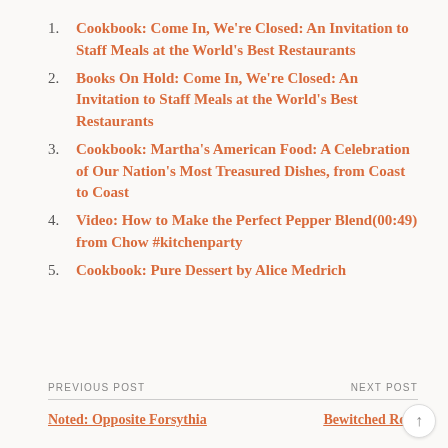Cookbook: Come In, We're Closed: An Invitation to Staff Meals at the World's Best Restaurants
Books On Hold: Come In, We're Closed: An Invitation to Staff Meals at the World's Best Restaurants
Cookbook: Martha's American Food: A Celebration of Our Nation's Most Treasured Dishes, from Coast to Coast
Video: How to Make the Perfect Pepper Blend(00:49) from Chow #kitchenparty
Cookbook: Pure Dessert by Alice Medrich
PREVIOUS POST
NEXT POST
Noted: Opposite Forsythia
Bewitched Rose